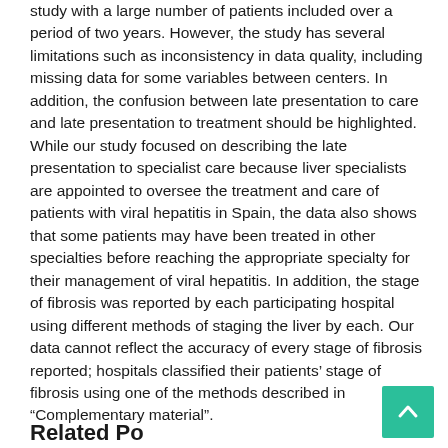study with a large number of patients included over a period of two years. However, the study has several limitations such as inconsistency in data quality, including missing data for some variables between centers. In addition, the confusion between late presentation to care and late presentation to treatment should be highlighted. While our study focused on describing the late presentation to specialist care because liver specialists are appointed to oversee the treatment and care of patients with viral hepatitis in Spain, the data also shows that some patients may have been treated in other specialties before reaching the appropriate specialty for their management of viral hepatitis. In addition, the stage of fibrosis was reported by each participating hospital using different methods of staging the liver by each. Our data cannot reflect the accuracy of every stage of fibrosis reported; hospitals classified their patients' stage of fibrosis using one of the methods described in “Complementary material”.
Related Posts